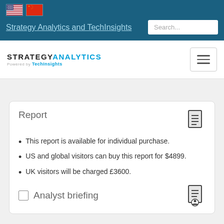[Figure (screenshot): US and Chinese flag icons in navigation bar]
Strategy Analytics and TechInsights
[Figure (logo): Strategy Analytics powered by TechInsights logo with hamburger menu]
Report
This report is available for individual purchase.
US and global visitors can buy this report for $4899.
UK visitors will be charged £3600.
Analyst briefing